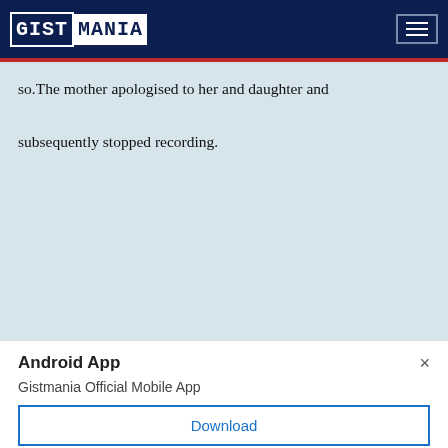GISTMANIA
so. The mother apologised to her and daughter and subsequently stopped recording.
Android App
Gistmania Official Mobile App
Download